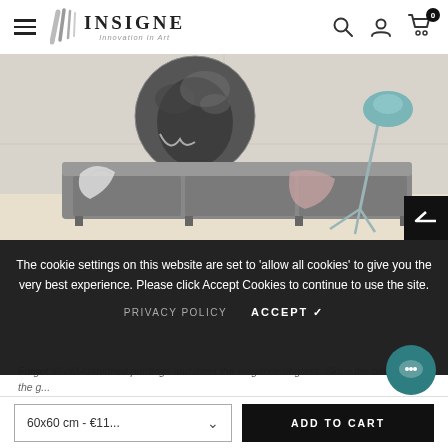INSIGNE Innovation in Art — Navigation header with hamburger menu, search, user, and cart icons
[Figure (photo): Interior room scene showing a grey sofa with blankets, a large circular black-and-white elephant art piece on the wall, and a teal tripod floor lamp. Back-to-top arrow button in bottom-right corner.]
The cookie settings on this website are set to 'allow all cookies' to give you the very best experience. Please click Accept Cookies to continue to use the site.
PRIVACY POLICY   ACCEPT ✓
Forget all old-fashioned printings and meet the elegance of glass. Since the back side of the g...
60x60 cm - €11...   ADD TO CART